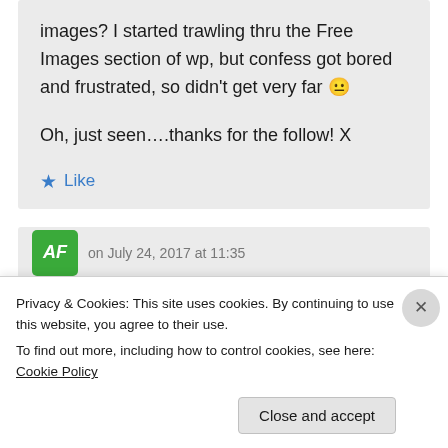images? I started trawling thru the Free Images section of wp, but confess got bored and frustrated, so didn't get very far 😐

Oh, just seen….thanks for the follow! X
Like
Privacy & Cookies: This site uses cookies. By continuing to use this website, you agree to their use.
To find out more, including how to control cookies, see here: Cookie Policy
Close and accept